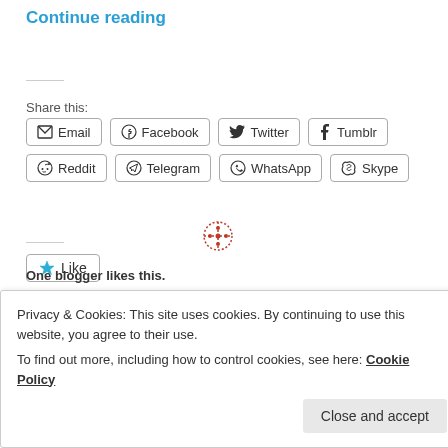Continue reading
Share this:
Email Facebook Twitter Tumblr Reddit Telegram WhatsApp Skype
Like
One blogger likes this.
Posted on November 27, 2017 by Katholiken
Privacy & Cookies: This site uses cookies. By continuing to use this website, you agree to their use.
To find out more, including how to control cookies, see here: Cookie Policy